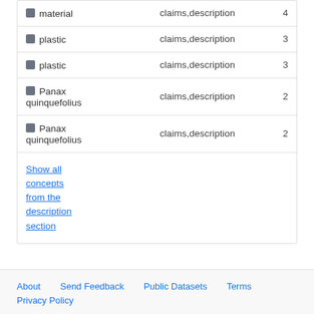| Concept | Sections | Count |
| --- | --- | --- |
| material | claims,description | 4 |
| plastic | claims,description | 3 |
| plastic | claims,description | 3 |
| Panax quinquefolius | claims,description | 2 |
| Panax quinquefolius | claims,description | 2 |
| Show all concepts from the description section |  |  |
About   Send Feedback   Public Datasets   Terms
Privacy Policy